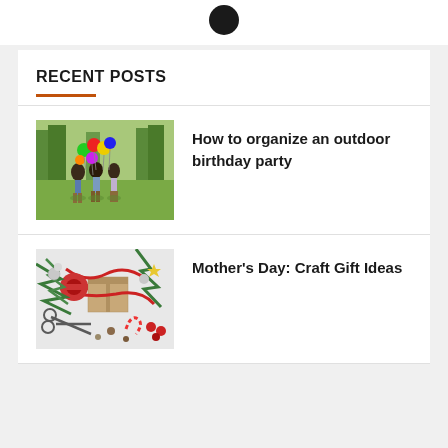[Figure (other): Partial dark circular avatar/profile image at top center]
RECENT POSTS
[Figure (photo): Children running in a park holding colorful balloons, outdoor birthday party scene with trees in background]
How to organize an outdoor birthday party
[Figure (photo): Flat lay of crafting supplies including scissors, twine, pine branches, ornaments, and wrapped gifts on white background]
Mother's Day: Craft Gift Ideas